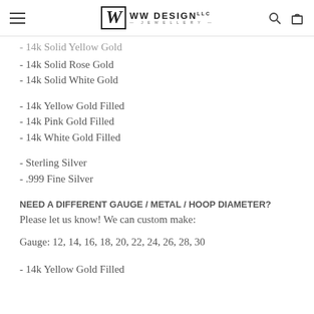WW DESIGN JEWELLERY
- 14k Solid Yellow Gold
- 14k Solid Rose Gold
- 14k Solid White Gold
- 14k Yellow Gold Filled
- 14k Pink Gold Filled
- 14k White Gold Filled
- Sterling Silver
- .999 Fine Silver
NEED A DIFFERENT GAUGE / METAL / HOOP DIAMETER?
Please let us know! We can custom make:
Gauge: 12, 14, 16, 18, 20, 22, 24, 26, 28, 30
- 14k Yellow Gold Filled